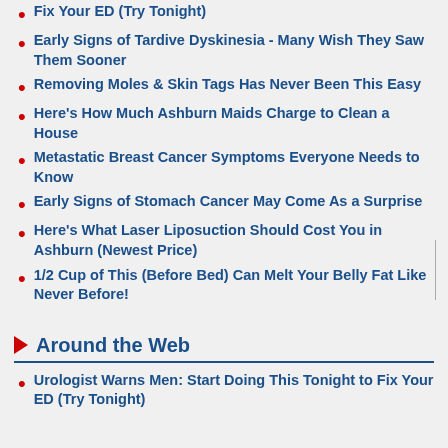Fix Your ED (Try Tonight)
Early Signs of Tardive Dyskinesia - Many Wish They Saw Them Sooner
Removing Moles & Skin Tags Has Never Been This Easy
Here's How Much Ashburn Maids Charge to Clean a House
Metastatic Breast Cancer Symptoms Everyone Needs to Know
Early Signs of Stomach Cancer May Come As a Surprise
Here's What Laser Liposuction Should Cost You in Ashburn (Newest Price)
1/2 Cup of This (Before Bed) Can Melt Your Belly Fat Like Never Before!
Around the Web
Urologist Warns Men: Start Doing This Tonight to Fix Your ED (Try Tonight)